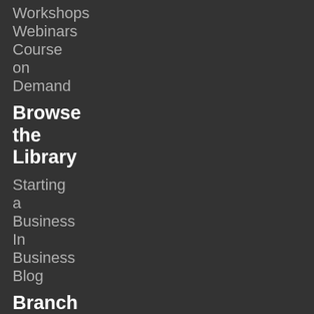Workshops
Webinars
Course on Demand
Browse the Library
Starting a Business
In
Business
Blog
Branch